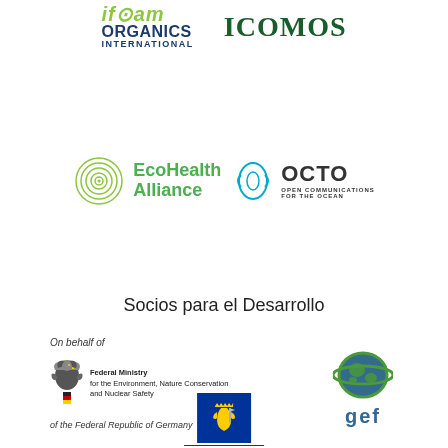[Figure (logo): IFOAM Organics International logo with stylized text in olive green and dark blue]
[Figure (logo): ICOMOS logo in dark green serif bold text]
[Figure (logo): EcoHealth Alliance logo with green spiral circle icon and green text]
[Figure (logo): OCTO Open Communications for the Ocean logo with teal fish/wave icon]
Socios para el Desarrollo
On behalf of
[Figure (logo): Federal Ministry for the Environment, Nature Conservation and Nuclear Safety - German federal eagle emblem with flag colors and ministry text]
[Figure (logo): GEF (Global Environment Facility) globe logo with green ring and blue text]
of the Federal Republic of Germany
[Figure (logo): Norwegian Ministry of Climate and Environment logo with blue box containing lion rampant emblem]
NORWEGIAN MINISTRY OF CLIMATE AND ENVIRONMENT